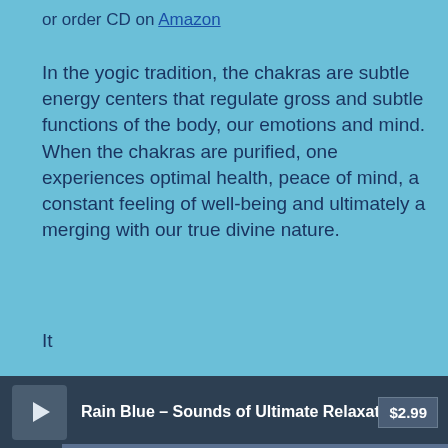or order CD on Amazon
In the yogic tradition, the chakras are subtle energy centers that regulate gross and subtle functions of the body, our emotions and mind. When the chakras are purified, one experiences optimal health, peace of mind, a constant feeling of well-being and ultimately a merging with our true divine nature.
It
Read more…
[Figure (screenshot): Audio player showing 'ed Syllable Om with Thunder, Impr' by Music for Deep Meditation, time 0:00/11:38, with skip controls]
[Figure (screenshot): Bottom media player bar showing 'Rain Blue - Sounds of Ultimate Relaxat' with price $2.99]